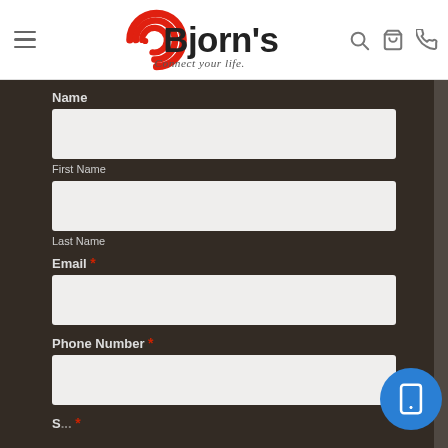[Figure (logo): Bjorn's Connect your life logo with red circular wifi icon]
Name
First Name
Last Name
Email *
Phone Number *
S... *